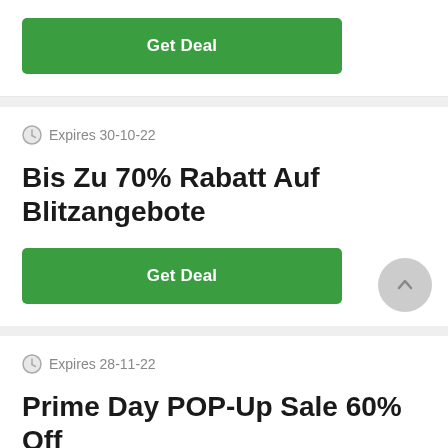[Figure (other): Green 'Get Deal' button at the top of the first card]
Expires 30-10-22
Bis Zu 70% Rabatt Auf Blitzangebote
[Figure (other): Green 'Get Deal' button for second deal card]
[Figure (other): Gray circular scroll-to-top button with upward chevron]
Expires 28-11-22
Prime Day POP-Up Sale 60% Off